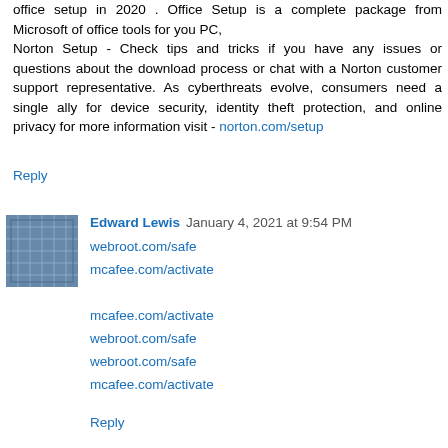office setup in 2020 . Office Setup is a complete package from Microsoft of office tools for you PC, Norton Setup - Check tips and tricks if you have any issues or questions about the download process or chat with a Norton customer support representative. As cyberthreats evolve, consumers need a single ally for device security, identity theft protection, and online privacy for more information visit - norton.com/setup
Reply
Edward Lewis  January 4, 2021 at 9:54 PM
webroot.com/safe
mcafee.com/activate

mcafee.com/activate
webroot.com/safe
webroot.com/safe
mcafee.com/activate
Reply